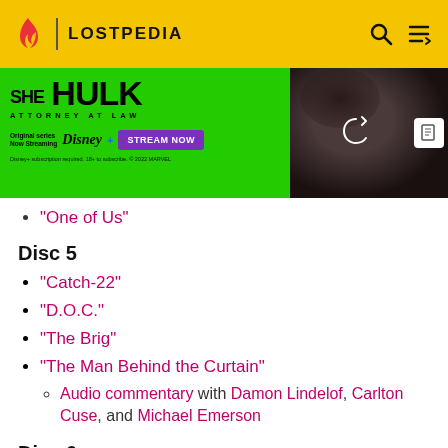LOSTPEDIA
[Figure (illustration): She-Hulk Attorney at Law Disney+ Stream Now advertisement banner with female character]
"One of Us"
Disc 5
"Catch-22"
"D.O.C."
"The Brig"
"The Man Behind the Curtain"
Audio commentary with Damon Lindelof, Carlton Cuse, and Michael Emerson
Disc 6